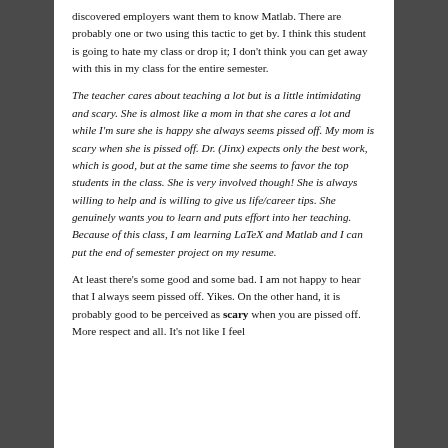discovered employers want them to know Matlab. There are probably one or two using this tactic to get by. I think this student is going to hate my class or drop it; I don't think you can get away with this in my class for the entire semester.
The teacher cares about teaching a lot but is a little intimidating and scary. She is almost like a mom in that she cares a lot and while I'm sure she is happy she always seems pissed off. My mom is scary when she is pissed off. Dr. (Jinx) expects only the best work, which is good, but at the same time she seems to favor the top students in the class. She is very involved though! She is always willing to help and is willing to give us life/career tips. She genuinely wants you to learn and puts effort into her teaching. Because of this class, I am learning LaTeX and Matlab and I can put the end of semester project on my resume.
At least there's some good and some bad. I am not happy to hear that I always seem pissed off. Yikes. On the other hand, it is probably good to be perceived as scary when you are pissed off. More respect and all. It's not like I feel